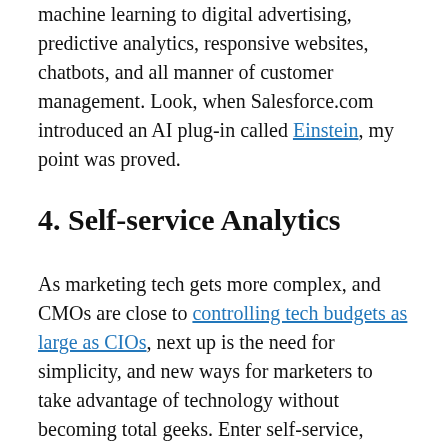machine learning to digital advertising, predictive analytics, responsive websites, chatbots, and all manner of customer management. Look, when Salesforce.com introduced an AI plug-in called Einstein, my point was proved.
4. Self-service Analytics
As marketing tech gets more complex, and CMOs are close to controlling tech budgets as large as CIOs, next up is the need for simplicity, and new ways for marketers to take advantage of technology without becoming total geeks. Enter self-service, which essentially means more sophisticated business intelligence tools